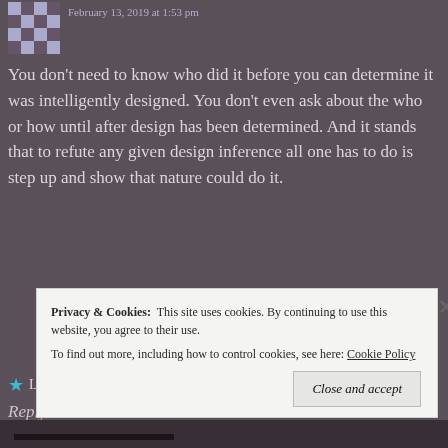February 13, 2019 at 1:53 pm
You don't need to know who did it before you can determine it was intelligently designed. You don't even ask about the who or how until after design has been determined. And it stands that to refute any given design inference all one has to do is step up and show that nature could do it.
Like
Reply
Privacy & Cookies:  This site uses cookies. By continuing to use this website, you agree to their use.
To find out more, including how to control cookies, see here: Cookie Policy
Close and accept